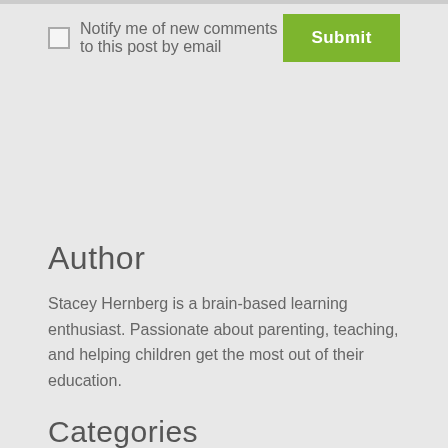Notify me of new comments to this post by email
Submit
Author
Stacey Hernberg is a brain-based learning enthusiast. Passionate about parenting, teaching, and helping children get the most out of their education.
Categories
All
Class Homework
Learning Games
Learning Resources/Aids